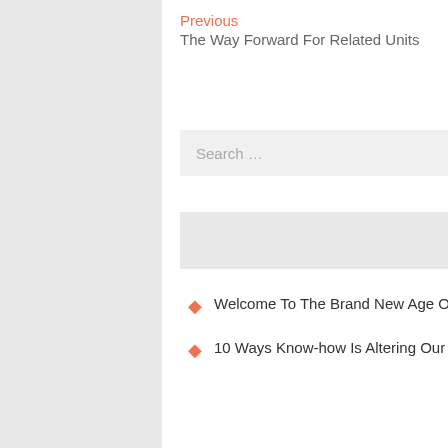Previous
The Way Forward For Related Units
Next
Best Android Phones 2021
[Figure (other): Search bar with orange search button containing a magnifying glass icon]
Recent Posts
Welcome To The Brand New Age Of Expertise?
10 Ways Know-how Is Altering Our Meals